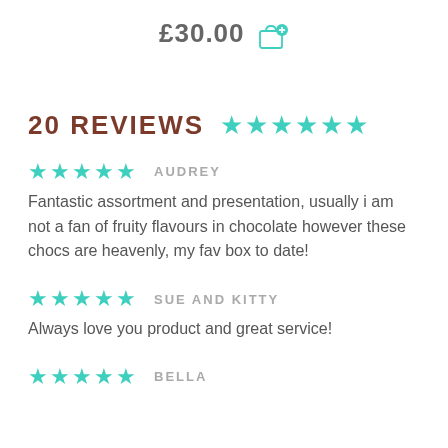£30.00
20 REVIEWS ★★★★★★
★★★★★   AUDREY
Fantastic assortment and presentation, usually i am not a fan of fruity flavours in chocolate however these chocs are heavenly, my fav box to date!
★★★★★   SUE AND KITTY
Always love you product and great service!
★★★★★   BELLA